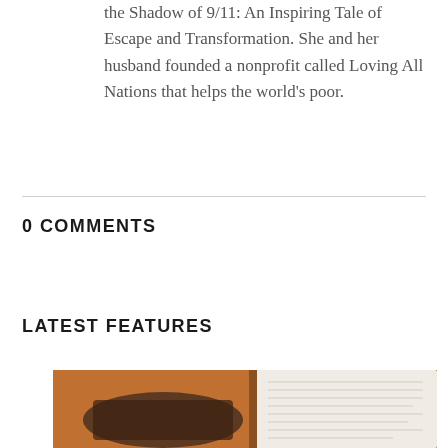the Shadow of 9/11: An Inspiring Tale of Escape and Transformation. She and her husband founded a nonprofit called Loving All Nations that helps the world's poor.
0 COMMENTS
LATEST FEATURES
[Figure (photo): An open book or magazine photographed on a warm brown/terracotta background, with pages visible on the right side.]